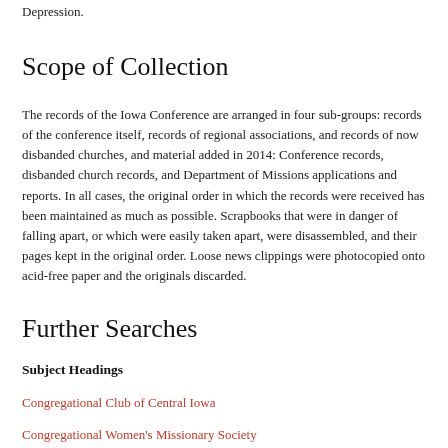Depression.
Scope of Collection
The records of the Iowa Conference are arranged in four sub-groups: records of the conference itself, records of regional associations, and records of now disbanded churches, and material added in 2014: Conference records, disbanded church records, and Department of Missions applications and reports. In all cases, the original order in which the records were received has been maintained as much as possible. Scrapbooks that were in danger of falling apart, or which were easily taken apart, were disassembled, and their pages kept in the original order. Loose news clippings were photocopied onto acid-free paper and the originals discarded.
Further Searches
Subject Headings
Congregational Club of Central Iowa
Congregational Women's Missionary Society